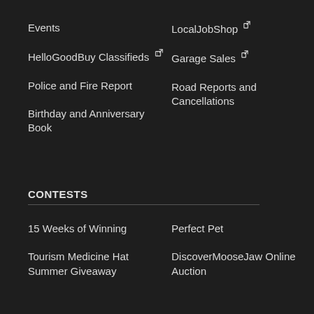Events
HelloGoodBuy Classifieds [external link]
Police and Fire Report
Birthday and Anniversary Book
LocalJobShop [external link]
Garage Sales [external link]
Road Reports and Cancellations
CONTESTS
15 Weeks of Winning
Tourism Medicine Hat Summer Giveaway
Perfect Pet
DiscoverMooseJaw Online Auction